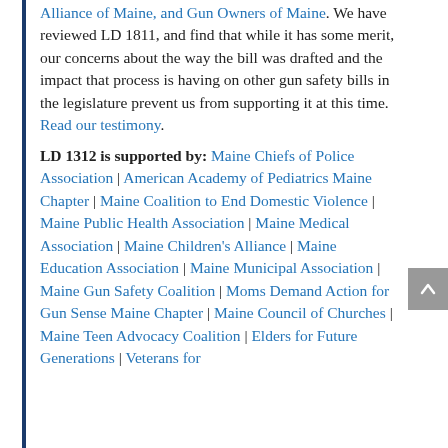Alliance of Maine, and Gun Owners of Maine. We have reviewed LD 1811, and find that while it has some merit, our concerns about the way the bill was drafted and the impact that process is having on other gun safety bills in the legislature prevent us from supporting it at this time. Read our testimony.
LD 1312 is supported by: Maine Chiefs of Police Association | American Academy of Pediatrics Maine Chapter | Maine Coalition to End Domestic Violence | Maine Public Health Association | Maine Medical Association | Maine Children's Alliance | Maine Education Association | Maine Municipal Association | Maine Gun Safety Coalition | Moms Demand Action for Gun Sense Maine Chapter | Maine Council of Churches | Maine Teen Advocacy Coalition | Elders for Future Generations | Veterans for